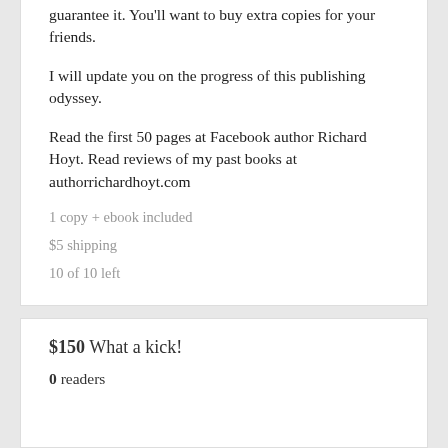guarantee it. You'll want to buy extra copies for your friends.
I will update you on the progress of this publishing odyssey.
Read the first 50 pages at Facebook author Richard Hoyt. Read reviews of my past books at authorrichardhoyt.com
1 copy + ebook included
$5 shipping
10 of 10 left
$150 What a kick!
0 readers